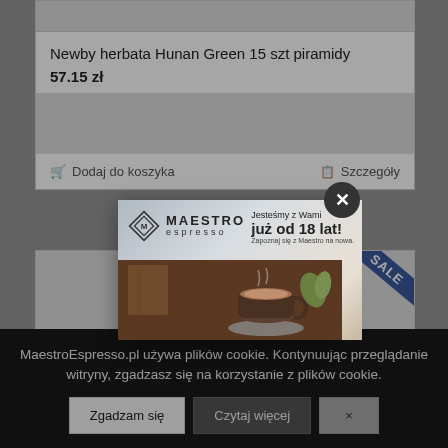Newby herbata Hunan Green 15 szt piramidy
57.15 zł
Dodaj do koszyka
Szczegóły
[Figure (photo): Maestro Espresso advertisement showing a coffee cup on a wooden table with text 'Jesteśmy z Wami już od 18 lat!' and a close button]
[Figure (photo): Product image area with SALE ribbon in blue]
MaestroEspresso.pl używa plików cookie. Kontynuując przeglądanie witryny, zgadzasz się na korzystanie z plików cookie.
Zgadzam się
Czytaj więcej
×